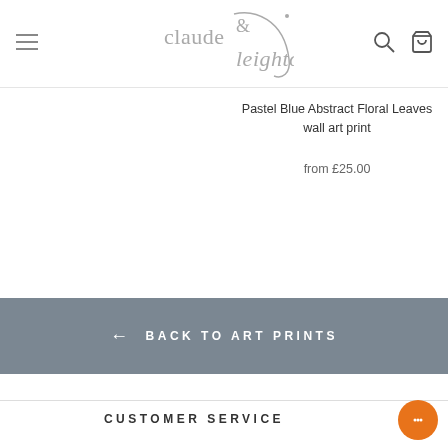claude & leighton — navigation header with logo, hamburger menu, search and cart icons
Pastel Blue Abstract Floral Leaves wall art print
from £25.00
← BACK TO ART PRINTS
CUSTOMER SERVICE